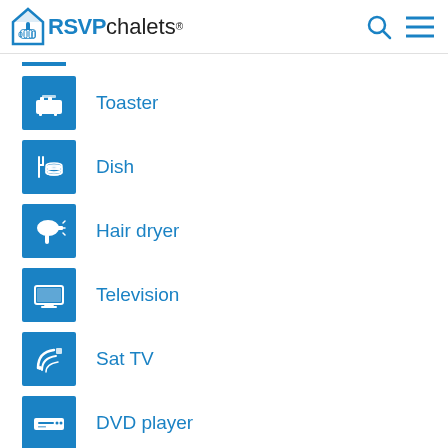RSVPchalets
Toaster
Dish
Hair dryer
Television
Sat TV
DVD player